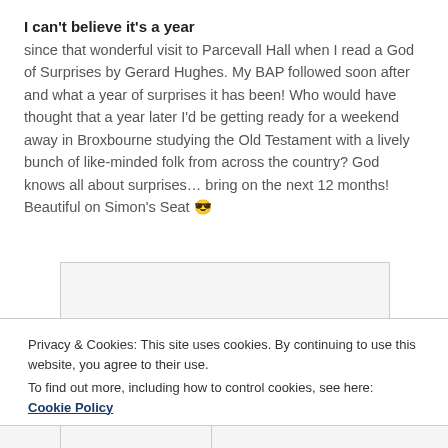I can't believe it's a year
since that wonderful visit to Parcevall Hall when I read a God of Surprises by Gerard Hughes. My BAP followed soon after and what a year of surprises it has been! Who would have thought that a year later I'd be getting ready for a weekend away in Broxbourne studying the Old Testament with a lively bunch of like-minded folk from across the country? God knows all about surprises… bring on the next 12 months!
Beautiful on Simon's Seat 😎
[Figure (photo): Partially visible image placeholder below the text]
Privacy & Cookies: This site uses cookies. By continuing to use this website, you agree to their use.
To find out more, including how to control cookies, see here: Cookie Policy
Close and accept